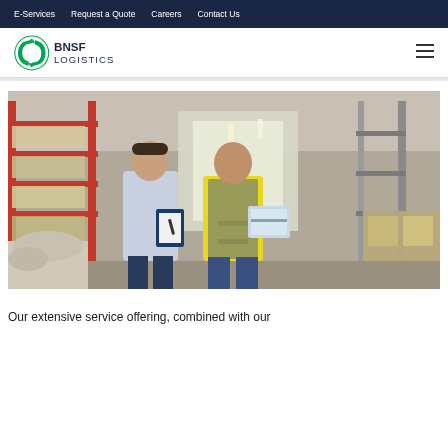E-Services | Request a Quote | Careers | Contact Us
[Figure (logo): BNSF Logistics logo with circular green arrow icon and dark blue text]
[Figure (photo): Two men in a warehouse — one in a dress shirt writing on a clipboard, one in a yellow high-visibility vest holding a package, with orange storage racks and goods in the background]
Our extensive service offering, combined with our